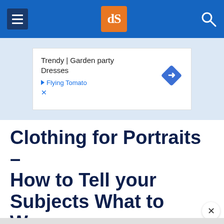dPS navigation header with hamburger menu, dPS logo, and search icon
[Figure (screenshot): Advertisement banner: Trendy | Garden party Dresses - Flying Tomato, with a blue diamond navigation icon]
Clothing for Portraits – How to Tell your Subjects What to Wear